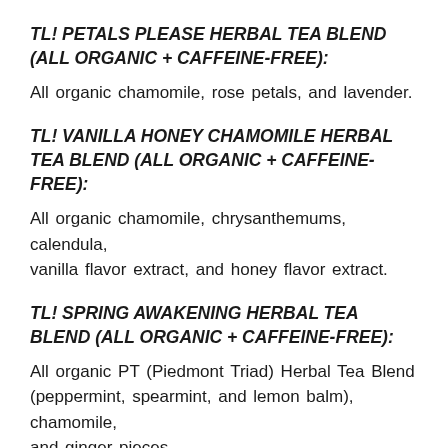TL! PETALS PLEASE HERBAL TEA BLEND (ALL ORGANIC + CAFFEINE-FREE):
All organic chamomile, rose petals, and lavender.
TL! VANILLA HONEY CHAMOMILE HERBAL TEA BLEND (ALL ORGANIC + CAFFEINE-FREE):
All organic chamomile, chrysanthemums, calendula, vanilla flavor extract, and honey flavor extract.
TL! SPRING AWAKENING HERBAL TEA BLEND (ALL ORGANIC + CAFFEINE-FREE):
All organic PT (Piedmont Triad) Herbal Tea Blend (peppermint, spearmint, and lemon balm), chamomile, and ginger pieces.